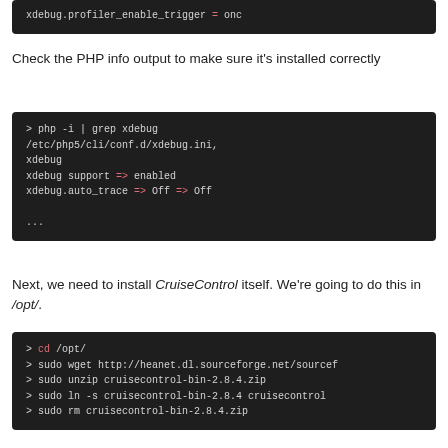[Figure (screenshot): Dark terminal code block showing: xdebug.profiler_enable_trigger = onc]
Check the PHP info output to make sure it's installed correctly
[Figure (screenshot): Dark terminal code block showing: > php -i | grep xdebug
/etc/php5/cli/conf.d/xdebug.ini,
xdebug
xdebug support => enabled
xdebug.auto_trace => Off => Off
...]
Next, we need to install CruiseControl itself. We're going to do this in /opt/.
[Figure (screenshot): Dark terminal code block showing: > cd /opt/
> sudo wget http://heanet.dl.sourceforge.net/sourcef
> sudo unzip cruisecontrol-bin-2.8.4.zip
> sudo ln -s cruisecontrol-bin-2.8.4 cruisecontrol
> sudo rm cruisecontrol-bin-2.8.4.zip]